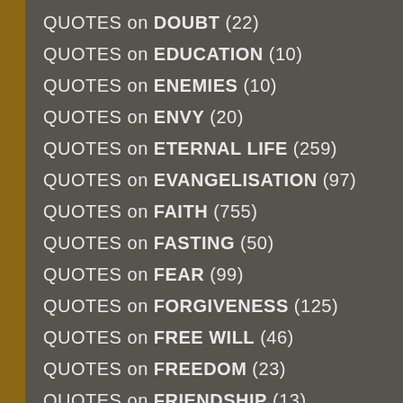QUOTES on DOUBT (22)
QUOTES on EDUCATION (10)
QUOTES on ENEMIES (10)
QUOTES on ENVY (20)
QUOTES on ETERNAL LIFE (259)
QUOTES on EVANGELISATION (97)
QUOTES on FAITH (755)
QUOTES on FASTING (50)
QUOTES on FEAR (99)
QUOTES on FORGIVENESS (125)
QUOTES on FREE WILL (46)
QUOTES on FREEDOM (23)
QUOTES on FRIENDSHIP (13)